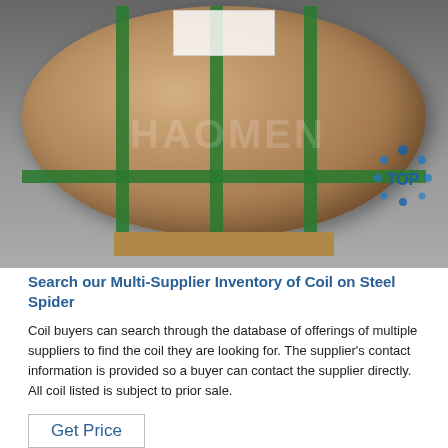[Figure (photo): A large cardboard-wrapped steel coil secured with green strapping bands, sitting on a wooden pallet on a warehouse floor. A watermark reading HAOMEN is overlaid on the image.]
Search our Multi-Supplier Inventory of Coil on Steel Spider
Coil buyers can search through the database of offerings of multiple suppliers to find the coil they are looking for. The supplier's contact information is provided so a buyer can contact the supplier directly. All coil listed is subject to prior sale.
Get Price